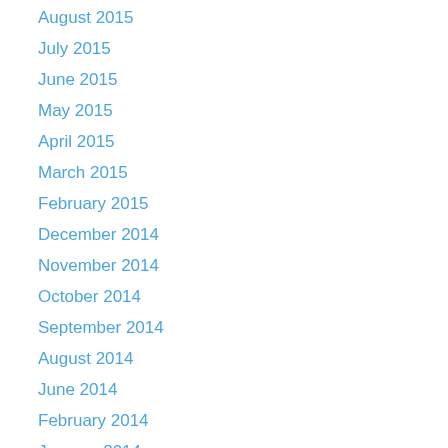August 2015
July 2015
June 2015
May 2015
April 2015
March 2015
February 2015
December 2014
November 2014
October 2014
September 2014
August 2014
June 2014
February 2014
January 2014
November 2013
October 2013
September 2013
August 2013
July 2013